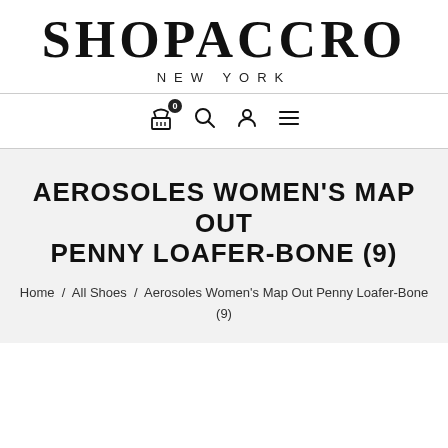SHOPACCRO NEW YORK
[Figure (screenshot): Navigation bar with cart (badge 0), search, user, and hamburger menu icons]
AEROSOLES WOMEN'S MAP OUT PENNY LOAFER-BONE (9)
Home / All Shoes / Aerosoles Women's Map Out Penny Loafer-Bone (9)